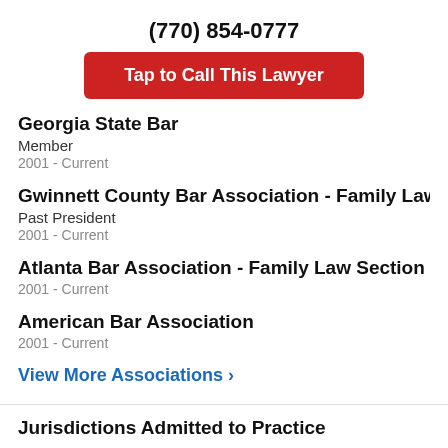(770) 854-0777
[Figure (other): Red button: Tap to Call This Lawyer]
Georgia State Bar
Member
2001 - Current
Gwinnett County Bar Association - Family Law Sectio
Past President
2001 - Current
Atlanta Bar Association - Family Law Section
2001 - Current
American Bar Association
2001 - Current
View More Associations ›
Jurisdictions Admitted to Practice